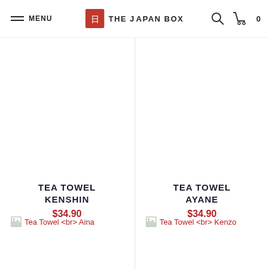MENU | THE JAPAN BOX | 0
TEA TOWEL KENSHIN
$34.90
TEA TOWEL AYANE
$34.90
[Figure (other): Broken image placeholder for Tea Towel Aina]
Tea Towel <br> Aina
[Figure (other): Broken image placeholder for Tea Towel Kenzo]
Tea Towel <br> Kenzo